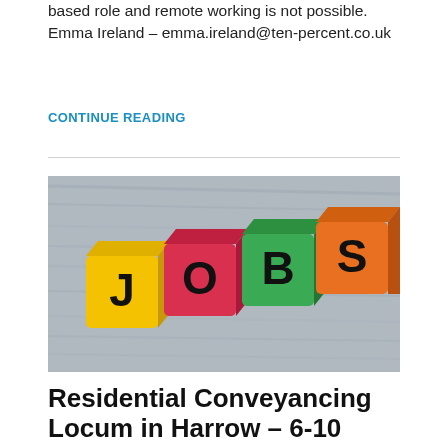based role and remote working is not possible. Emma Ireland – emma.ireland@ten-percent.co.uk
CONTINUE READING
[Figure (photo): Four colorful wooden blocks arranged in a row spelling 'JOBS' — yellow (J), red (O), green (B), orange (S) — resting on a wooden surface.]
Residential Conveyancing Locum in Harrow – 6-10